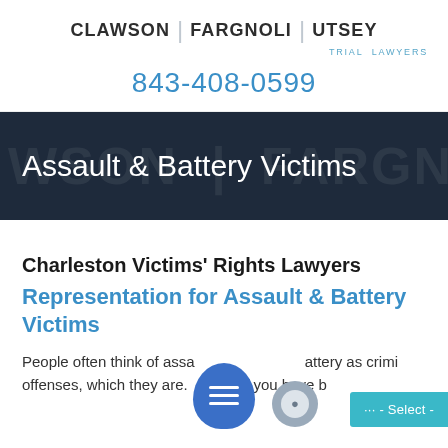CLAWSON | FARGNOLI | UTSEY TRIAL LAWYERS
843-408-0599
Assault & Battery Victims
Charleston Victims' Rights Lawyers
Representation for Assault & Battery Victims
People often think of assault and battery as criminal offenses, which they are. However, if you have b...